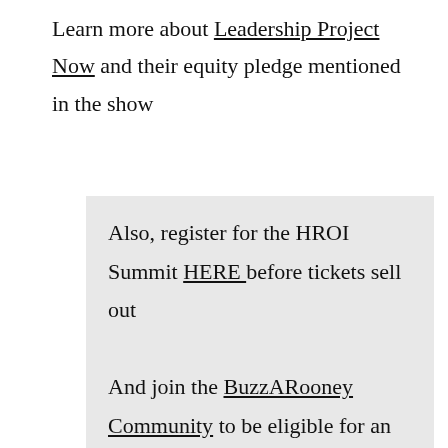Learn more about Leadership Project Now and their equity pledge mentioned in the show
Also, register for the HROI Summit HERE before tickets sell out

And join the BuzzARooney Community to be eligible for an event scholarship and to get my monthly newsletters and to keep